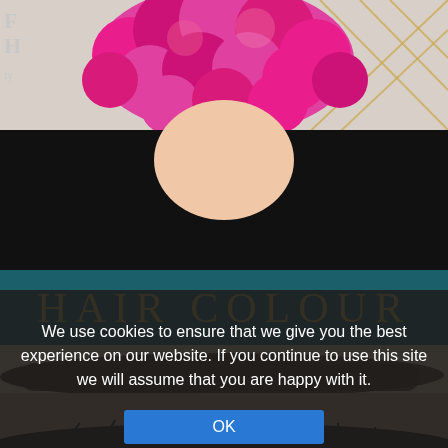[Figure (photo): Top-down view of a person with bright pink/magenta curly hair against a dark background, with a gold geometric logo visible on the right side]
HAIR COLOUR
[Figure (photo): Close-up of a perfectly shaped eyebrow and eyelashes against a light skin background, transitioning to dark at the bottom]
We use cookies to ensure that we give you the best experience on our website. If you continue to use this site we will assume that you are happy with it.
OK
Privacy Policy